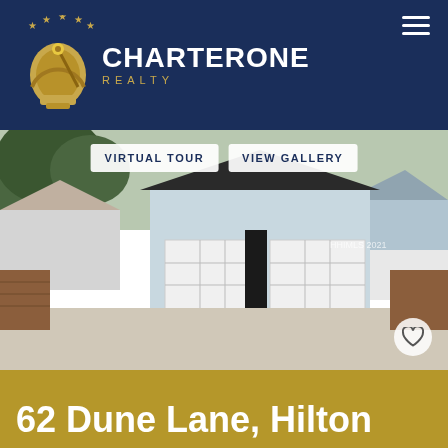[Figure (logo): CharterOne Realty logo with golden sextant/anchor instrument and blue stars on dark navy background]
[Figure (photo): Exterior photo of a light blue/white coastal home with large white garage doors, brick driveway, trees in background. Overlaid buttons say VIRTUAL TOUR and VIEW GALLERY. Heart icon in bottom right corner.]
62 Dune Lane, Hilton